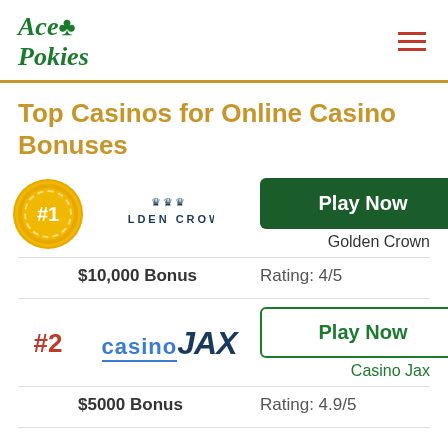Ace Pokies
Top Casinos for Online Casino Bonuses
[Figure (infographic): Casino listing card #1: Golden Crown casino with Play Now button (green filled), $10,000 Bonus, Rating: 4/5]
[Figure (infographic): Casino listing card #2: Casino Jax with Play Now button (green outline), $5000 Bonus, Rating: 4.9/5]